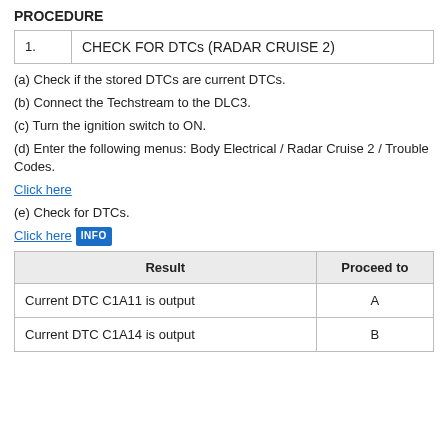PROCEDURE
|  |  |
| --- | --- |
| 1. | CHECK FOR DTCs (RADAR CRUISE 2) |
(a) Check if the stored DTCs are current DTCs.
(b) Connect the Techstream to the DLC3.
(c) Turn the ignition switch to ON.
(d) Enter the following menus: Body Electrical / Radar Cruise 2 / Trouble Codes.
Click here
(e) Check for DTCs.
Click here INFO
| Result | Proceed to |
| --- | --- |
| Current DTC C1A11 is output | A |
| Current DTC C1A14 is output | B |